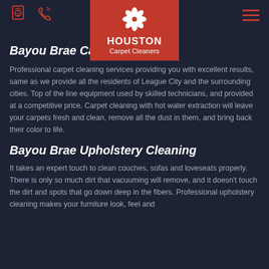Houston Carpet Cleaners
Bayou Brae Carpet Cleaning
Professional carpet cleaning services providing you with excellent results, same as we provide all the residents of League City and the surrounding cities. Top of the line equipment used by skilled technicians, and provided at a competitive price. Carpet cleaning with hot water extraction will leave your carpets fresh and clean, remove all the dust in them, and bring back their color to life.
Bayou Brae Upholstery Cleaning
It takes an expert touch to clean couches, sofas and loveseats properly. There is only so much dirt that vacuuming will remove, and it doesn't touch the dirt and spots that go down deep in the fibers. Professional upholstery cleaning makes your furniture look, feel and